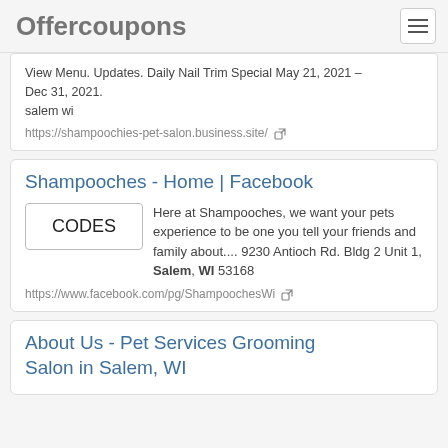Offercoupons
View Menu. Updates. Daily Nail Trim Special May 21, 2021 – Dec 31, 2021.
salem wi
https://shampoochies-pet-salon.business.site/
Shampooches - Home | Facebook
Here at Shampooches, we want your pets experience to be one you tell your friends and family about.... 9230 Antioch Rd. Bldg 2 Unit 1, Salem, WI 53168
https://www.facebook.com/pg/ShampoochesWi
About Us - Pet Services Grooming Salon in Salem, WI